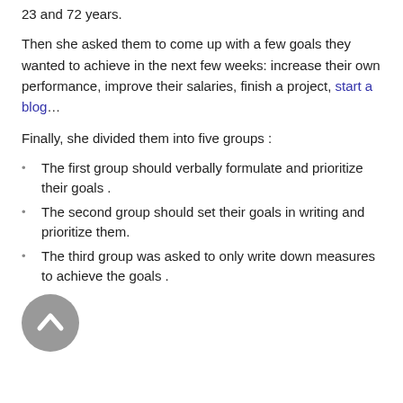23 and 72 years.
Then she asked them to come up with a few goals they wanted to achieve in the next few weeks: increase their own performance, improve their salaries, finish a project, start a blog…
Finally, she divided them into five groups :
The first group should verbally formulate and prioritize their goals .
The second group should set their goals in writing and prioritize them.
The third group was asked to only write down measures to achieve the goals .
[Figure (illustration): A circular grey back-to-top button with a white upward chevron arrow]